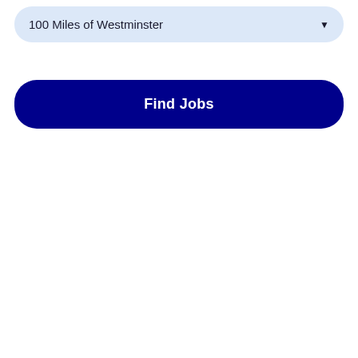100 Miles of Westminster
Find Jobs